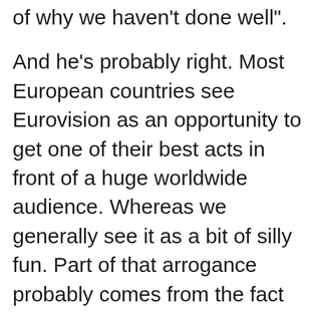of why we haven't done well".
And he's probably right. Most European countries see Eurovision as an opportunity to get one of their best acts in front of a huge worldwide audience. Whereas we generally see it as a bit of silly fun. Part of that arrogance probably comes from the fact that we have a lot of globally successful artists already, but the Ed Sheerans of the world aren't used to performing to an audience of 200 million people.
Not that Ed Sheeran is representing us at Eurovision yet, anyway. But Sam Ryder is, and while he's not a household name exactly, he does have a considerable following. With twelve million followers on TikTok, he's UK's biggest music act on the platform. Som